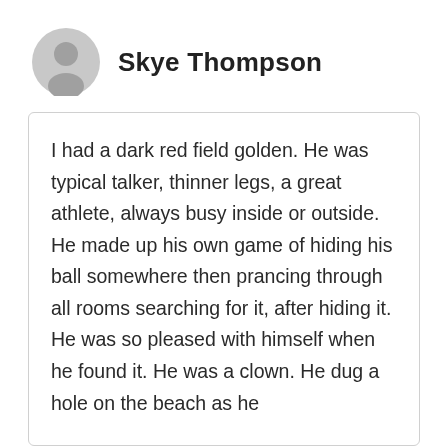[Figure (illustration): Circular avatar icon showing a generic person silhouette in gray]
Skye Thompson
I had a dark red field golden. He was typical talker, thinner legs, a great athlete, always busy inside or outside. He made up his own game of hiding his ball somewhere then prancing through all rooms searching for it, after hiding it. He was so pleased with himself when he found it. He was a clown. He dug a hole on the beach as he